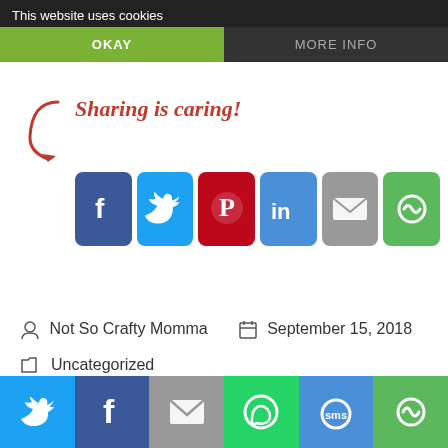This website uses cookies
OKAY
MORE INFO
[Figure (infographic): Sharing is caring! text with arrow pointing to social media share buttons: Facebook, Twitter, Pinterest, LinkedIn, Email, More]
Not So Crafty Momma    September 15, 2018
Uncategorized
[Figure (infographic): Bottom share bar with Twitter, Facebook, Email, WhatsApp, SMS, and More share buttons]